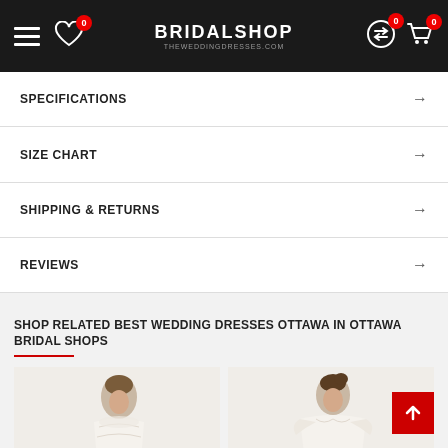BRIDALSHOP
SPECIFICATIONS
SIZE CHART
SHIPPING & RETURNS
REVIEWS
SHOP RELATED BEST WEDDING DRESSES OTTAWA IN OTTAWA BRIDAL SHOPS
[Figure (photo): Two wedding dress product photos side by side showing brides in white lace gowns]